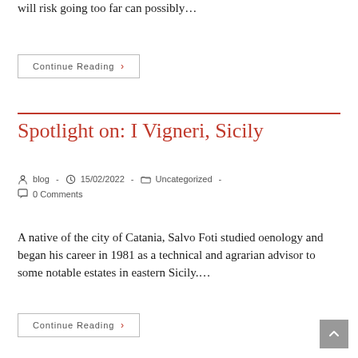will risk going too far can possibly…
Continue Reading ›
Spotlight on: I Vigneri, Sicily
blog - 15/02/2022 - Uncategorized - 0 Comments
A native of the city of Catania, Salvo Foti studied oenology and began his career in 1981 as a technical and agrarian advisor to some notable estates in eastern Sicily….
Continue Reading ›